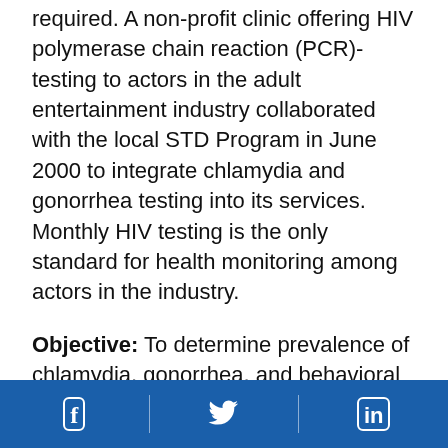required. A non-profit clinic offering HIV polymerase chain reaction (PCR)-testing to actors in the adult entertainment industry collaborated with the local STD Program in June 2000 to integrate chlamydia and gonorrhea testing into its services. Monthly HIV testing is the only standard for health monitoring among actors in the industry.
Objective: To determine prevalence of chlamydia, gonorrhea, and behavioral risk factors in this population.
Methods: Clients provided urine for LCR testing and reported on STD history, sexual preference, having a steady sex partner, and condom use with this partner. Descriptive statistics were used to analyze the data.
[Facebook icon] [Twitter icon] [LinkedIn icon]